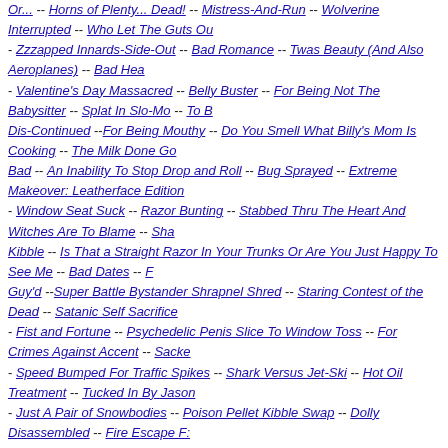Or... -- Horns of Plenty... Dead! -- Mistress-And-Run -- Wolverine Interrupted -- Who Let The Guts Ou - Zzzapped Innards-Side-Out -- Bad Romance -- Twas Beauty (And Also Aeroplanes) -- Bad Hea - Valentine's Day Massacred -- Belly Buster -- For Being Not The Babysitter -- Splat In Slo-Mo -- To B Dis-Continued --For Being Mouthy -- Do You Smell What Billy's Mom Is Cooking -- The Milk Done Go Bad -- An Inability To Stop Drop and Roll -- Bug Sprayed -- Extreme Makeover: Leatherface Edition - Window Seat Suck -- Razor Bunting -- Stabbed Thru The Heart And Witches Are To Blame -- Sha Kibble -- Is That a Straight Razor In Your Trunks Or Are You Just Happy To See Me -- Bad Dates -- F Guy'd --Super Battle Bystander Shrapnel Shred -- Staring Contest of the Dead -- Satanic Self Sacrifice - Fist and Fortune -- Psychedelic Penis Slice To Window Toss -- For Crimes Against Accent -- Sacke - Speed Bumped For Traffic Spikes -- Shark Versus Jet-Ski -- Hot Oil Treatment -- Tucked In By Jason - Just A Pair of Snowbodies -- Poison Pellet Kibble Swap -- Dolly Disassembled -- Fire Escape F: Out -- Unbuggered -- Tell 'Em Large Marge Sent'cha -- Blue Man Gooped -- Tongue Stung -- No Wouldn't Cha, Barracuda? -- Leaving on a Rat Plane -- Panthers! -- Fashion Faux-Pwned -- "It's Just Box." -- Blasted Pigeons -- Taunting Ahnuld -- The Too Hot Tub -- Beyond the Veil -- Sunken Prayer - Super Crack -- Brains Blown -- Fur For The Boogens -- White Hot Bunny Rabbit Rage --Dragged T Hell -- The TV Van That Dripped Blood -- Don't Mess With Mama -- Heads Ahoy --Martyred For Shee - Heads Nor Tails -- He Loves Me Knot -- The Great Bouncing Brad --Miss Kitty's 8 Mishaps -- Bo Smoosh -- Meeting the French-Tipped Menace -- A Magic Trick -- Slick Suck -- We Who Walk He Walk Alone -- Raptor Bait -- Kneegasm'd -- Dare to Dream in Fincher -- Reach Out and Thrott Someone -- De-Faced -- Voluntary Drowning -- Cross Borne -- Pulled Up Hell's Sphincter -- An Arro